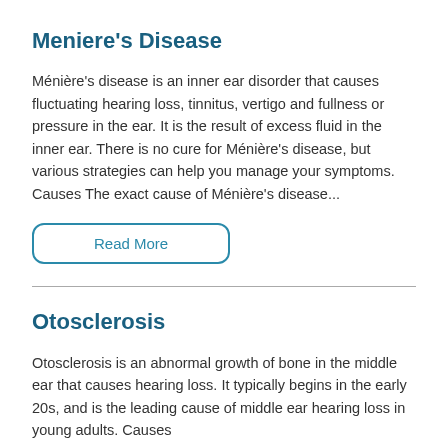Meniere's Disease
Ménière's disease is an inner ear disorder that causes fluctuating hearing loss, tinnitus, vertigo and fullness or pressure in the ear. It is the result of excess fluid in the inner ear. There is no cure for Ménière's disease, but various strategies can help you manage your symptoms. Causes The exact cause of Ménière's disease...
Read More
Otosclerosis
Otosclerosis is an abnormal growth of bone in the middle ear that causes hearing loss. It typically begins in the early 20s, and is the leading cause of middle ear hearing loss in young adults. Causes